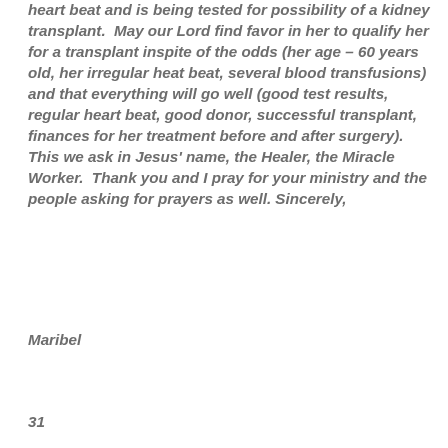heart beat and is being tested for possibility of a kidney transplant.  May our Lord find favor in her to qualify her for a transplant inspite of the odds (her age – 60 years old, her irregular heat beat, several blood transfusions) and that everything will go well (good test results, regular heart beat, good donor, successful transplant, finances for her treatment before and after surgery).  This we ask in Jesus' name, the Healer, the Miracle Worker.  Thank you and I pray for your ministry and the people asking for prayers as well. Sincerely,
Maribel
31